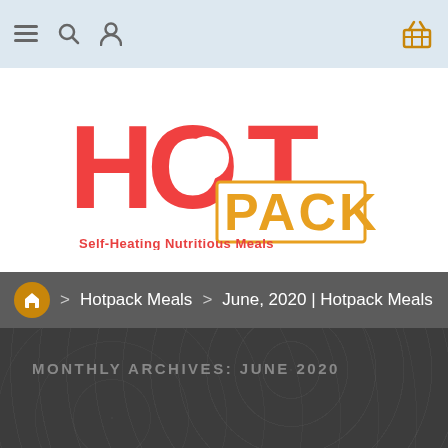Navigation bar with hamburger menu, search, user, and basket icons
[Figure (logo): HOT PACK logo — 'HOT' in large red bold letters with a circle cutout in the O, 'PACK' in orange bold outlined letters below, tagline 'Self-Heating Nutritious Meals' in red beneath]
Hotpack Meals > June, 2020 | Hotpack Meals
MONTHLY ARCHIVES: JUNE 2020